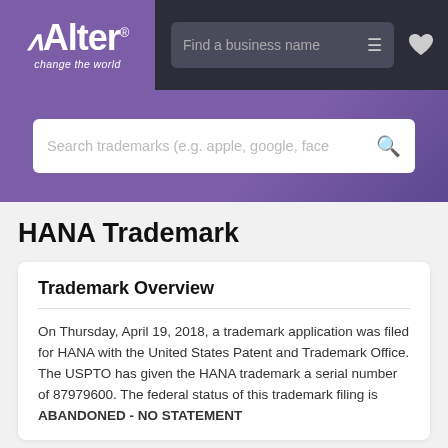[Figure (screenshot): Alter website logo — purple box with white 'Alter®' text and 'change the world' slogan]
Find a business name
[Figure (screenshot): Search bar with placeholder 'Search trademarks (e.g. apple, google, face' and magnifying glass icon]
HANA Trademark
Trademark Overview
On Thursday, April 19, 2018, a trademark application was filed for HANA with the United States Patent and Trademark Office. The USPTO has given the HANA trademark a serial number of 87979600. The federal status of this trademark filing is ABANDONED - NO STATEMENT